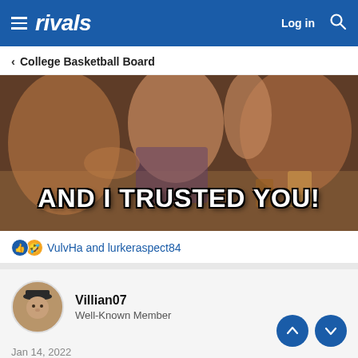rivals  Log in
< College Basketball Board
[Figure (photo): Meme image showing children at a table with bold white text overlay reading AND I TRUSTED YOU!]
👍🤣 VulvHa and lurkeraspect84
Villian07
Well-Known Member
Jan 14, 2022